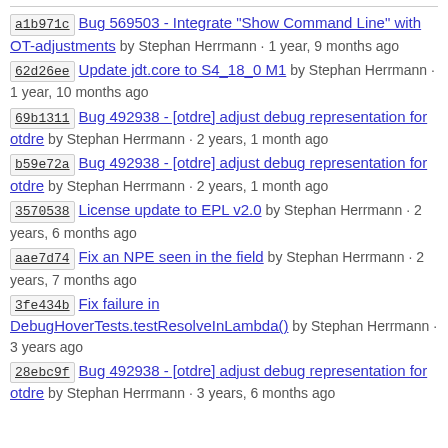a1b971c Bug 569503 - Integrate "Show Command Line" with OT-adjustments by Stephan Herrmann · 1 year, 9 months ago
62d26ee Update jdt.core to S4_18_0 M1 by Stephan Herrmann · 1 year, 10 months ago
69b1311 Bug 492938 - [otdre] adjust debug representation for otdre by Stephan Herrmann · 2 years, 1 month ago
b59e72a Bug 492938 - [otdre] adjust debug representation for otdre by Stephan Herrmann · 2 years, 1 month ago
3570538 License update to EPL v2.0 by Stephan Herrmann · 2 years, 6 months ago
aae7d74 Fix an NPE seen in the field by Stephan Herrmann · 2 years, 7 months ago
3fe434b Fix failure in DebugHoverTests.testResolveInLambda() by Stephan Herrmann · 3 years ago
28ebc9f Bug 492938 - [otdre] adjust debug representation for otdre by Stephan Herrmann · 3 years, 6 months ago